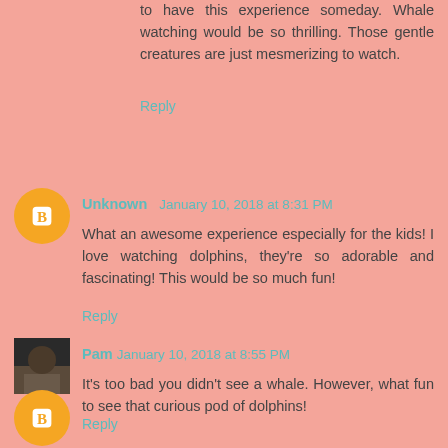to have this experience someday. Whale watching would be so thrilling. Those gentle creatures are just mesmerizing to watch.
Reply
Unknown  January 10, 2018 at 8:31 PM
What an awesome experience especially for the kids! I love watching dolphins, they're so adorable and fascinating! This would be so much fun!
Reply
Pam  January 10, 2018 at 8:55 PM
It's too bad you didn't see a whale. However, what fun to see that curious pod of dolphins!
Reply
Ckrusch  January 10, 2018 at 9:02 PM